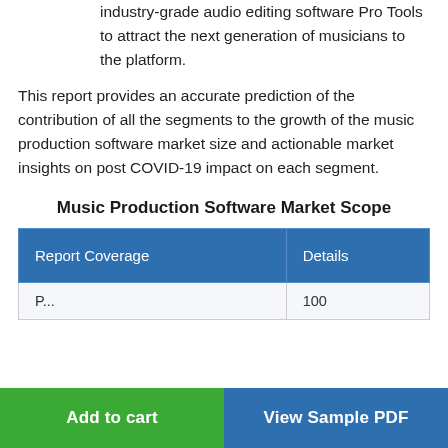industry-grade audio editing software Pro Tools to attract the next generation of musicians to the platform.
This report provides an accurate prediction of the contribution of all the segments to the growth of the music production software market size and actionable market insights on post COVID-19 impact on each segment.
Music Production Software Market Scope
| Report Coverage | Details |
| --- | --- |
| P... | 100 |